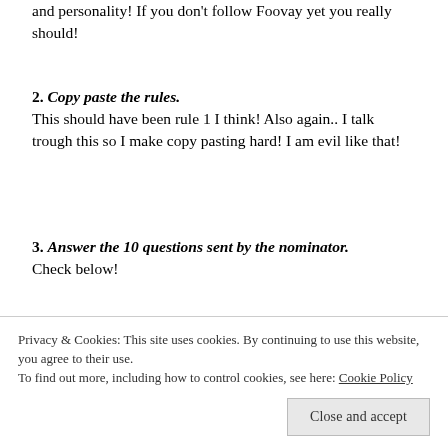and personality! If you don't follow Foovay yet you really should!
2. Copy paste the rules. This should have been rule 1 I think! Also again.. I talk trough this so I make copy pasting hard! I am evil like that!
3. Answer the 10 questions sent by the nominator. Check below!
4. Write your 10 questions for the nominees and answer your own questions
Privacy & Cookies: This site uses cookies. By continuing to use this website, you agree to their use. To find out more, including how to control cookies, see here: Cookie Policy